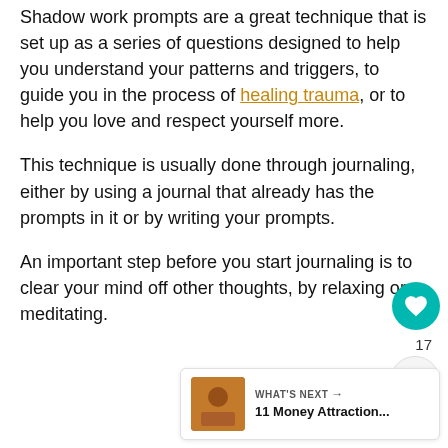Shadow work prompts are a great technique that is set up as a series of questions designed to help you understand your patterns and triggers, to guide you in the process of healing trauma, or to help you love and respect yourself more.
This technique is usually done through journaling, either by using a journal that already has the prompts in it or by writing your prompts.
An important step before you start journaling is to clear your mind off other thoughts, by relaxing or meditating.
[Figure (other): What's Next widget showing '11 Money Attraction...' with a decorative image thumbnail]